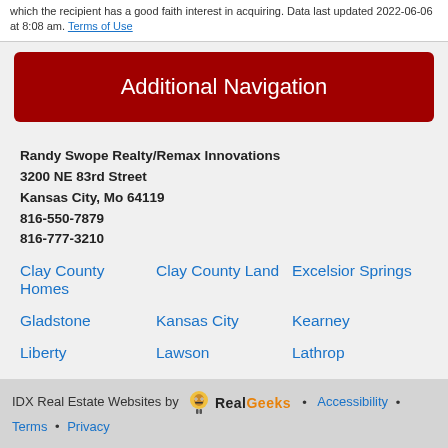which the recipient has a good faith interest in acquiring. Data last updated 2022-06-06 at 8:08 am. Terms of Use
Additional Navigation
Randy Swope Realty/Remax Innovations
3200 NE 83rd Street
Kansas City, Mo 64119
816-550-7879
816-777-3210
Clay County Homes
Clay County Land
Excelsior Springs
Gladstone
Kansas City
Kearney
Liberty
Lawson
Lathrop
Parkville
Platte City
Smithville
Trimble
IDX Real Estate Websites by RealGeeks • Accessibility • Terms • Privacy